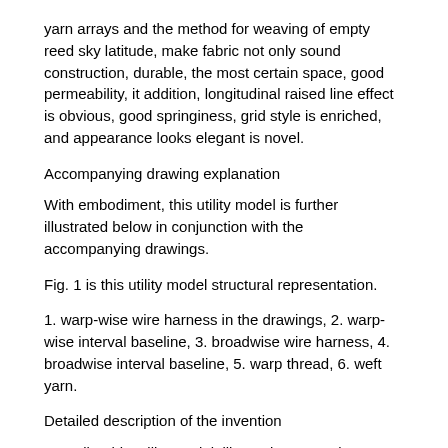yarn arrays and the method for weaving of empty reed sky latitude, make fabric not only sound construction, durable, the most certain space, good permeability, it addition, longitudinal raised line effect is obvious, good springiness, grid style is enriched, and appearance looks elegant is novel.
Accompanying drawing explanation
With embodiment, this utility model is further illustrated below in conjunction with the accompanying drawings.
Fig. 1 is this utility model structural representation.
1. warp-wise wire harness in the drawings, 2. warp-wise interval baseline, 3. broadwise wire harness, 4. broadwise interval baseline, 5. warp thread, 6. weft yarn.
Detailed description of the invention
Describe this utility model, illustrative examples therein and explanation in detail below in conjunction with accompanying drawing and specific embodiment to be only used for explaining this utility model, but be not intended as restriction of the present utility model.